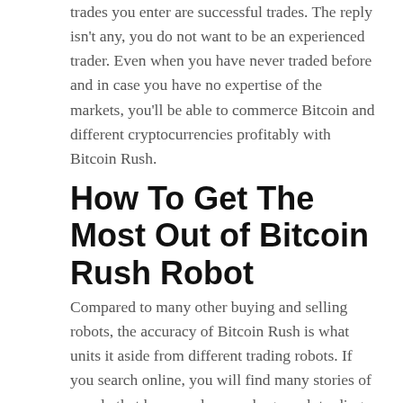trades you enter are successful trades. The reply isn't any, you do not want to be an experienced trader. Even when you have never traded before and in case you have no expertise of the markets, you'll be able to commerce Bitcoin and different cryptocurrencies profitably with Bitcoin Rush.
How To Get The Most Out of Bitcoin Rush Robot
Compared to many other buying and selling robots, the accuracy of Bitcoin Rush is what units it aside from different trading robots. If you search online, you will find many stories of people that have made some huge cash trading Bitcoin and other cryptocurrencies. Let's face it, for most of us, we didn't get into trading Bitcoin right from the beginning and so we aren't a type of success tales. You know the one where someone bought Bitcoin when it was first launched in 2009 after which saw their investment grow by over 666,000% by 2017. All that's stated, Bitcoin Rush is a wonderful opportunity to discover ways to commerce in cryptocurrency and achieve a